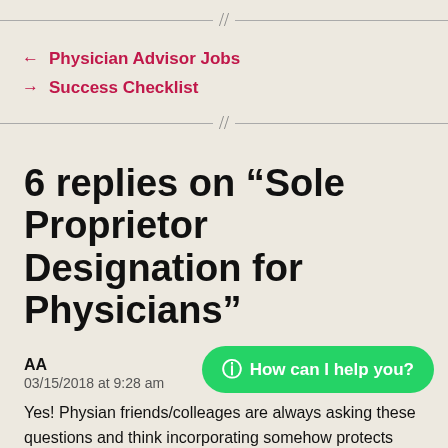//
← Physician Advisor Jobs
→ Success Checklist
6 replies on “Sole Proprietor Designation for Physicians”
AA
03/15/2018 at 9:28 am
Yes! Physian friends/colleages are always asking these questions and think incorporating somehow protects them from malpractice deductions. Now I can direct them here! And my